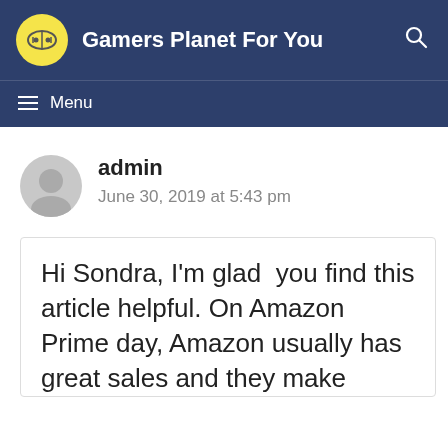Gamers Planet For You
Menu
admin
June 30, 2019 at 5:43 pm
Hi Sondra, I'm glad  you find this article helpful. On Amazon Prime day, Amazon usually has great sales and they make